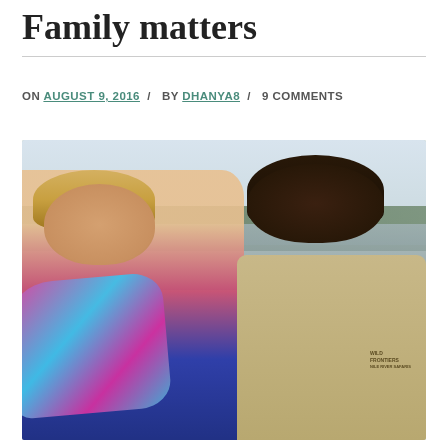Family matters
ON AUGUST 9, 2016 / BY DHANYA8 / 9 COMMENTS
[Figure (photo): A smiling blonde woman wearing a colorful pink and blue scarf standing next to a smiling man wearing a khaki Wild Frontiers safari shirt, outdoors near a lake with trees in the background.]